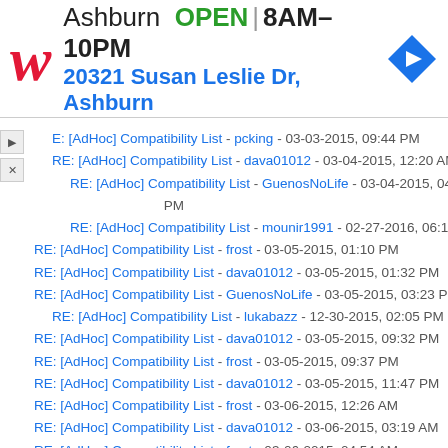[Figure (screenshot): Walgreens advertisement banner showing store location: Ashburn, OPEN 8AM-10PM, 20321 Susan Leslie Dr, Ashburn, with a navigation icon]
E: [AdHoc] Compatibility List - pcking - 03-03-2015, 09:44 PM
RE: [AdHoc] Compatibility List - dava01012 - 03-04-2015, 12:20 AM
RE: [AdHoc] Compatibility List - GuenosNoLife - 03-04-2015, 04:42 PM
RE: [AdHoc] Compatibility List - mounir1991 - 02-27-2016, 06:19 PM
RE: [AdHoc] Compatibility List - frost - 03-05-2015, 01:10 PM
RE: [AdHoc] Compatibility List - dava01012 - 03-05-2015, 01:32 PM
RE: [AdHoc] Compatibility List - GuenosNoLife - 03-05-2015, 03:23 PM
RE: [AdHoc] Compatibility List - lukabazz - 12-30-2015, 02:05 PM
RE: [AdHoc] Compatibility List - dava01012 - 03-05-2015, 09:32 PM
RE: [AdHoc] Compatibility List - frost - 03-05-2015, 09:37 PM
RE: [AdHoc] Compatibility List - dava01012 - 03-05-2015, 11:47 PM
RE: [AdHoc] Compatibility List - frost - 03-06-2015, 12:26 AM
RE: [AdHoc] Compatibility List - dava01012 - 03-06-2015, 03:19 AM
RE: [AdHoc] Compatibility List - frost - 03-06-2015, 04:54 AM
RE: [AdHoc] Compatibility List - dava01012 - 03-06-2015, 04:56 AM
RE: [AdHoc] Compatibility List - nheem3 - 03-07-2015, 12:29 AM
RE: [AdHoc] Compatibility List - frost - 03-07-2015, 05:45 AM
RE: [AdHoc] Compatibility List - Blade Master - 03-08-2015, 03:25 AM
RE: [AdHoc] Compatibility List - nheem3 - 03-08-2015, 07:00 AM